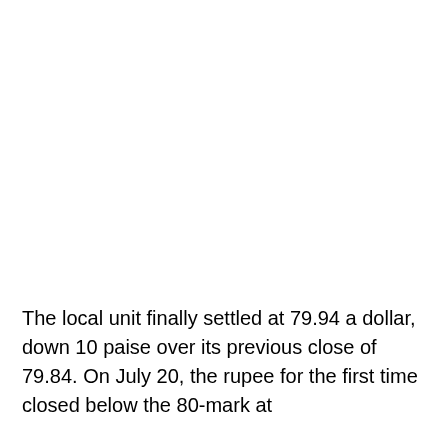The local unit finally settled at 79.94 a dollar, down 10 paise over its previous close of 79.84. On July 20, the rupee for the first time closed below the 80-mark at